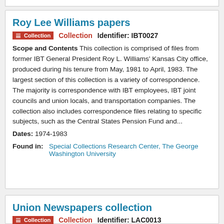Roy Lee Williams papers
Collection   Identifier: IBT0027
Scope and Contents This collection is comprised of files from former IBT General President Roy L. Williams' Kansas City office, produced during his tenure from May, 1981 to April, 1983. The largest section of this collection is a variety of correspondence. The majority is correspondence with IBT employees, IBT joint councils and union locals, and transportation companies. The collection also includes correspondence files relating to specific subjects, such as the Central States Pension Fund and...
Dates: 1974-1983
Found in: Special Collections Research Center, The George Washington University
Union Newspapers collection
Collection   Identifier: LAC0013